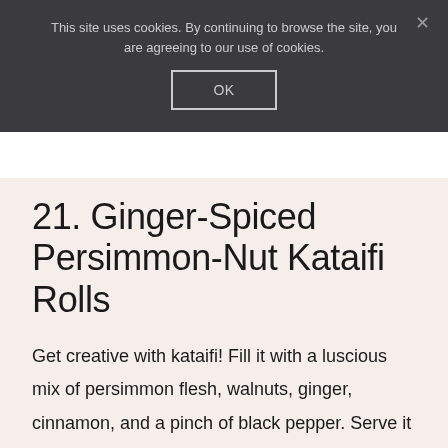This site uses cookies. By continuing to browse the site, you are agreeing to our use of cookies.
OK
21. Ginger-Spiced Persimmon-Nut Kataifi Rolls
Get creative with kataifi! Fill it with a luscious mix of persimmon flesh, walnuts, ginger, cinnamon, and a pinch of black pepper. Serve it with a glass of delicious Greek dessert wine, the liatiko